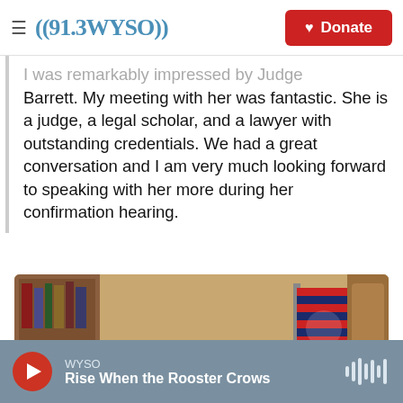((91.3WYSO)) | Donate
I was remarkably impressed by Judge Barrett. My meeting with her was fantastic. She is a judge, a legal scholar, and a lawyer with outstanding credentials. We had a great conversation and I am very much looking forward to speaking with her more during her confirmation hearing.
[Figure (photo): Two people, a woman in a blue outfit and a man in a dark suit with a gold tie, standing in a formal office setting with a bookcase, fireplace mantel with greenery, and a US flag in the background.]
WYSO | Rise When the Rooster Crows